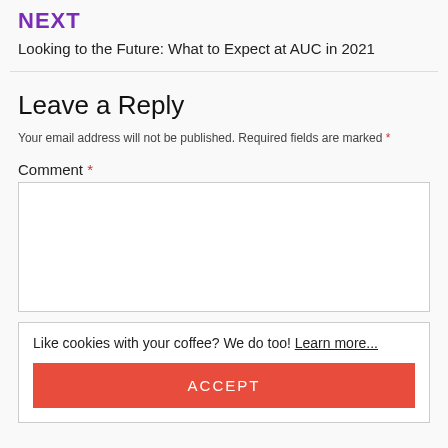NEXT
Looking to the Future: What to Expect at AUC in 2021
Leave a Reply
Your email address will not be published. Required fields are marked *
Comment *
Like cookies with your coffee? We do too! Learn more...
ACCEPT